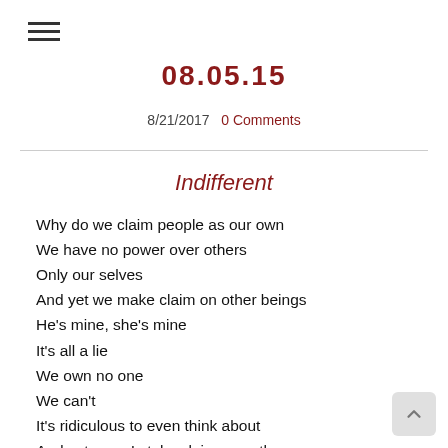☰
08.05.15
8/21/2017   0 Comments
Indifferent
Why do we claim people as our own
We have no power over others
Only our selves
And yet we make claim on other beings
He's mine, she's mine
It's all a lie
We own no one
We can't
It's ridiculous to even think about
And yet even I stake claims on others
He's mine because I found him first
It's ridiculous...